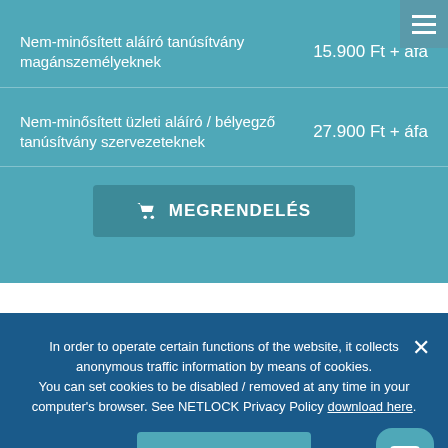Nem-minősített aláíró tanúsítvány magánszemélyeknek
Nem-minősített üzleti aláíró / bélyegző tanúsítvány szervezeteknek
MEGRENDELÉS
In order to operate certain functions of the website, it collects anonymous traffic information by means of cookies. You can set cookies to be disabled / removed at any time in your computer's browser. See NETLOCK Privacy Policy download here.
Accept